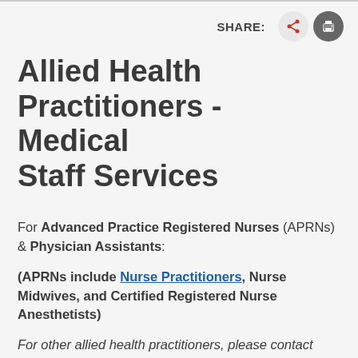SHARE:
Allied Health Practitioners - Medical Staff Services
For Advanced Practice Registered Nurses (APRNs) & Physician Assistants:
(APRNs include Nurse Practitioners, Nurse Midwives, and Certified Registered Nurse Anesthetists)
For other allied health practitioners, please contact Medical Staff Services directly at 410-